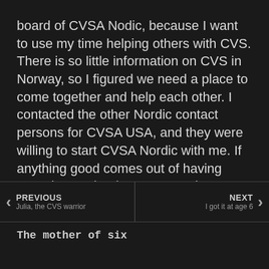board of CVSA Nodic, because I want to use my time helping others with CVS. There is so little information on CVS in Norway, so I figured we need a place to come together and help each other. I contacted the other Nordic contact persons for CVSA USA, and they were willing to start CVSA Nordic with me. If anything good comes out of having CVS, it must be that I am now in a position where I can help others.
PREVIOUS | Julia, the CVS warrior    NEXT | I got it at age 6
The mother of six